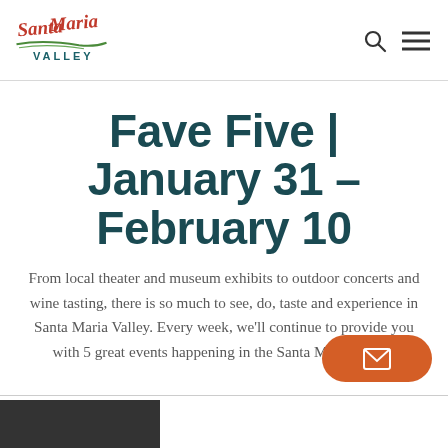Santa Maria Valley
Fave Five | January 31 – February 10
From local theater and museum exhibits to outdoor concerts and wine tasting, there is so much to see, do, taste and experience in Santa Maria Valley. Every week, we'll continue to provide you with 5 great events happening in the Santa Maria Valley.
[Figure (logo): Santa Maria Valley logo with orange script text and green underline accent, and VALLEY in teal below]